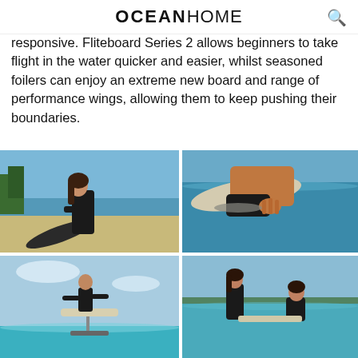OCEANHOME
responsive. Fliteboard Series 2 allows beginners to take flight in the water quicker and easier, whilst seasoned foilers can enjoy an extreme new board and range of performance wings, allowing them to keep pushing their boundaries.
[Figure (photo): Woman in black wetsuit on a beach carrying a Fliteboard foil board, blue sky and calm ocean in background.]
[Figure (photo): Close-up underwater/water-level shot of a person's hands gripping a foil board wing, with water surface visible.]
[Figure (photo): Person foil surfing, elevated above the water surface on a foil board, bright sky and turquoise water.]
[Figure (photo): Two people with a Fliteboard in calm water near a tropical shoreline with palm trees.]